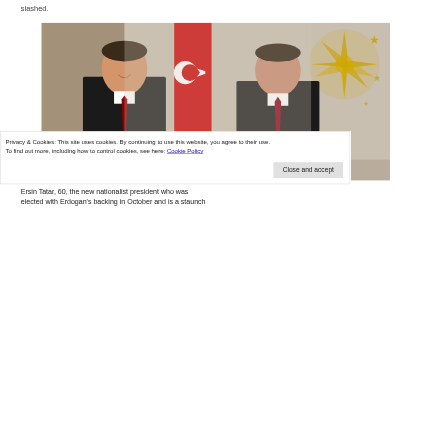slashed.
[Figure (photo): Two men in dark suits standing together. The man on the left is smiling; a Turkish flag (red with white crescent and star) is visible in the center background; gold decorative star emblem visible on the right background.]
Ersin Tatar, 60, the new nationalist president who was elected with Erdogan's backing in October and is a staunch
Privacy & Cookies: This site uses cookies. By continuing to use this website, you agree to their use.
To find out more, including how to control cookies, see here: Cookie Policy
Close and accept